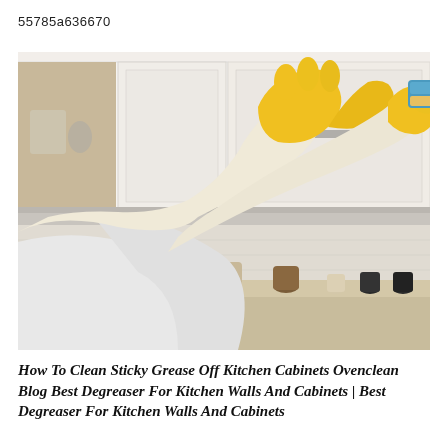55785a636670
[Figure (photo): Person wearing yellow rubber gloves and white long-sleeve shirt cleaning a white kitchen cabinet door with a blue sponge. Kitchen shelves with jars and spice containers visible in the background.]
How To Clean Sticky Grease Off Kitchen Cabinets Ovenclean Blog Best Degreaser For Kitchen Walls And Cabinets | Best Degreaser For Kitchen Walls And Cabinets